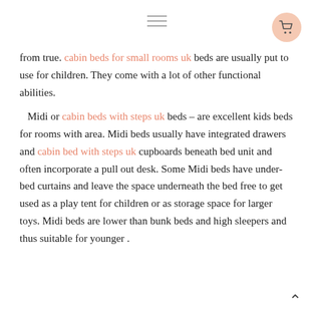≡ [hamburger menu] [cart button]
from true. cabin beds for small rooms uk beds are usually put to use for children. They come with a lot of other functional abilities.
Midi or cabin beds with steps uk beds – are excellent kids beds for rooms with area. Midi beds usually have integrated drawers and cabin bed with steps uk cupboards beneath bed unit and often incorporate a pull out desk. Some Midi beds have under-bed curtains and leave the space underneath the bed free to get used as a play tent for children or as storage space for larger toys. Midi beds are lower than bunk beds and high sleepers and thus suitable for younger .